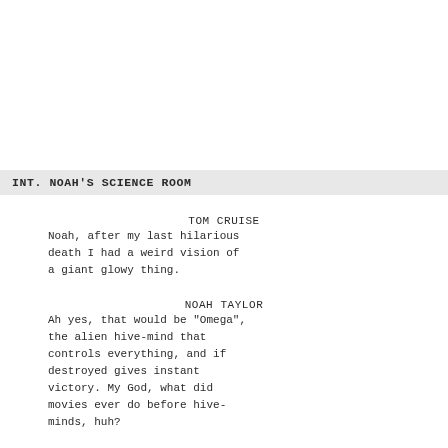INT. NOAH'S SCIENCE ROOM
TOM CRUISE
Noah, after my last hilarious death I had a weird vision of a giant glowy thing.
NOAH TAYLOR
Ah yes, that would be "Omega", the alien hive-mind that controls everything, and if destroyed gives instant victory. My God, what did movies ever do before hive-minds, huh?
EMILY BLUNT
I had those visions too. Noah said it meant the aliens were tracking me down psychically